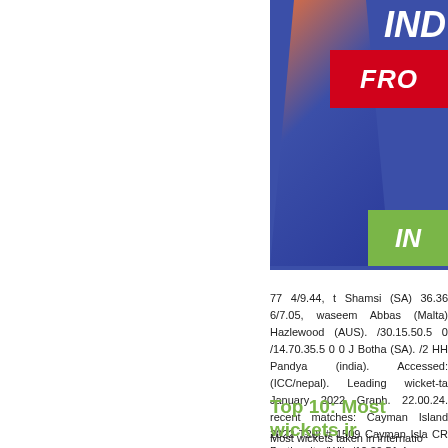[Figure (photo): Cricket player in blue India jersey with red banner showing 'FRO' and green banner, blue background with 'IND' text]
77 4/9.44, t Shamsi (SA) 36.36 6/7.05, waseem Abbas (Malta) Hazlewood (AUS). /30.15.50.5 0 /14.70.35.5 0 0 J Botha (SA). /2 HH Pandya (india). Accessed: (ICC/nepal). Leading wicket-ta January 2022 Graph. 22.00.24. recent matches: Cayman Island 2022 T20I # 1509 Cayman Isla CR Brathwaite (WI). /12.30.51.4
Top 10: Most wickets ir
Most wickets taken in internatio